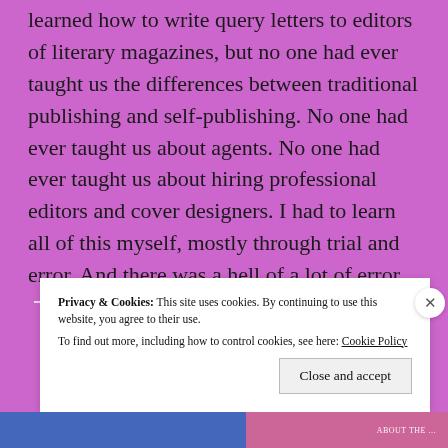learned how to write query letters to editors of literary magazines, but no one had ever taught us the differences between traditional publishing and self-publishing. No one had ever taught us about agents. No one had ever taught us about hiring professional editors and cover designers. I had to learn all of this myself, mostly through trial and error. And there was a hell of a lot of error.
Privacy & Cookies: This site uses cookies. By continuing to use this website, you agree to their use. To find out more, including how to control cookies, see here: Cookie Policy
Close and accept